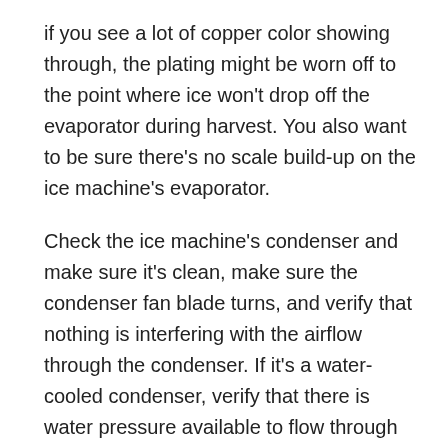if you see a lot of copper color showing through, the plating might be worn off to the point where ice won't drop off the evaporator during harvest. You also want to be sure there's no scale build-up on the ice machine's evaporator.
Check the ice machine's condenser and make sure it's clean, make sure the condenser fan blade turns, and verify that nothing is interfering with the airflow through the condenser. If it's a water-cooled condenser, verify that there is water pressure available to flow through the condenser when the unit runs.
If you have refrigerant gauges, attach them and make sure there's pressure in the machine; and if you can, verify that it's the correct refrigerant.